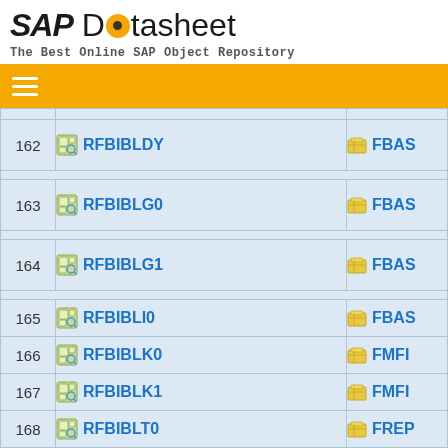SAP Datasheet - The Best Online SAP Object Repository
| # | Name | Package |
| --- | --- | --- |
| 162 | RFBIBLDY | FBAS |
| 163 | RFBIBLG0 | FBAS |
| 164 | RFBIBLG1 | FBAS |
| 165 | RFBIBLI0 | FBAS |
| 166 | RFBIBLK0 | FMFI |
| 167 | RFBIBLK1 | FMFI |
| 168 | RFBIBLT0 | FREP |
| 169 | RFBIDBD1 | FREP |